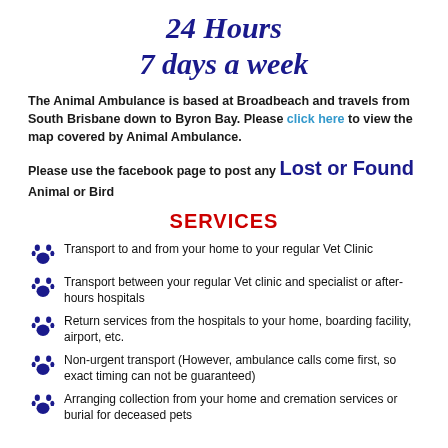24 Hours
7 days a week
The Animal Ambulance is based at Broadbeach and travels from South Brisbane down to Byron Bay. Please click here to view the map covered by Animal Ambulance.
Please use the facebook page to post any Lost or Found Animal or Bird
SERVICES
Transport to and from your home to your regular Vet Clinic
Transport between your regular Vet clinic and specialist or after-hours hospitals
Return services from the hospitals to your home, boarding facility, airport, etc.
Non-urgent transport (However, ambulance calls come first, so exact timing can not be guaranteed)
Arranging collection from your home and cremation services or burial for deceased pets